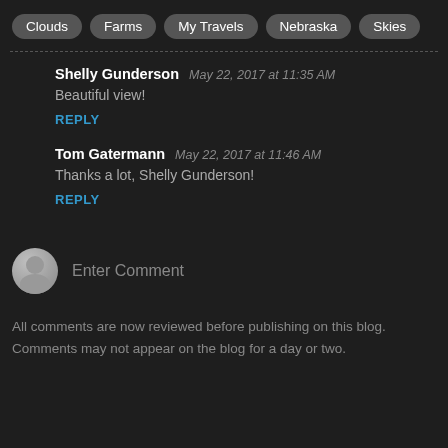Clouds
Farms
My Travels
Nebraska
Skies
Shelly Gunderson  May 22, 2017 at 11:35 AM
Beautiful view!
REPLY
Tom Gatermann  May 22, 2017 at 11:46 AM
Thanks a lot, Shelly Gunderson!
REPLY
Enter Comment
All comments are now reviewed before publishing on this blog. Comments may not appear on the blog for a day or two.